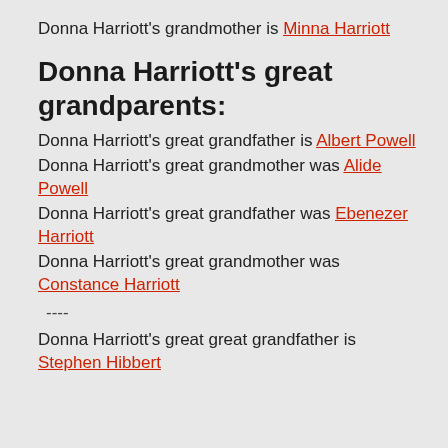Donna Harriott's grandmother is Minna Harriott
Donna Harriott's great grandparents:
Donna Harriott's great grandfather is Albert Powell
Donna Harriott's great grandmother was Alide Powell
Donna Harriott's great grandfather was Ebenezer Harriott
Donna Harriott's great grandmother was Constance Harriott
----
Donna Harriott's great great grandfather is Stephen Hibbert